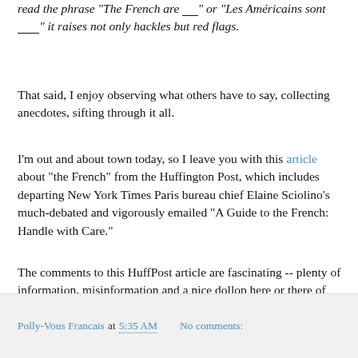read the phrase "The French are ___" or "Les Américains sont _______" it raises not only hackles but red flags.
That said, I enjoy observing what others have to say, collecting anecdotes, sifting through it all.
I'm out and about town today, so I leave you with this article about "the French" from the Huffington Post, which includes departing New York Times Paris bureau chief Elaine Sciolino's much-debated and vigorously emailed "A Guide to the French: Handle with Care."
The comments to this HuffPost article are fascinating -- plenty of information, misinformation and a nice dollop here or there of insight.
Okay -- off to sweep though the city. I'll leave my broomstick at home.
Polly-Vous Francais at 5:35 AM   No comments: